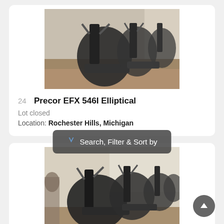[Figure (photo): Photo of Precor elliptical machines in a gym, row of machines, partially cropped at top]
24  Precor EFX 546I Elliptical
Lot closed
Location: Rochester Hills, Michigan
[Figure (photo): Photo of Precor elliptical machines in a gym, row of machines]
Search, Filter & Sort by
25  Precor EFX 546I Elliptical